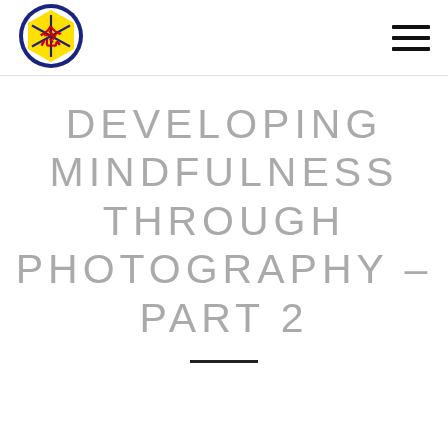[Figure (logo): Circular logo with blue border, yellow hexagon background, red kanji character in center, camera aperture design elements]
DEVELOPING MINDFULNESS THROUGH PHOTOGRAPHY – PART 2